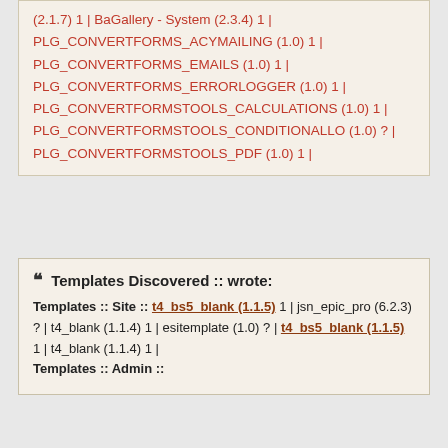(2.1.7) 1 | BaGallery - System (2.3.4) 1 | PLG_CONVERTFORMS_ACYMAILING (1.0) 1 | PLG_CONVERTFORMS_EMAILS (1.0) 1 | PLG_CONVERTFORMS_ERRORLOGGER (1.0) 1 | PLG_CONVERTFORMSTOOLS_CALCULATIONS (1.0) 1 | PLG_CONVERTFORMSTOOLS_CONDITIONALLO (1.0) ? | PLG_CONVERTFORMSTOOLS_PDF (1.0) 1 |
Templates Discovered :: wrote: Templates :: Site :: t4_bs5_blank (1.1.5) 1 | jsn_epic_pro (6.2.3) ? | t4_blank (1.1.4) 1 | esitemplate (1.0) ? | t4_bs5_blank (1.1.5) 1 | t4_blank (1.1.4) 1 | Templates :: Admin ::
strudel
Joomla! Apprentice
Re: "Notifications" errors Administration